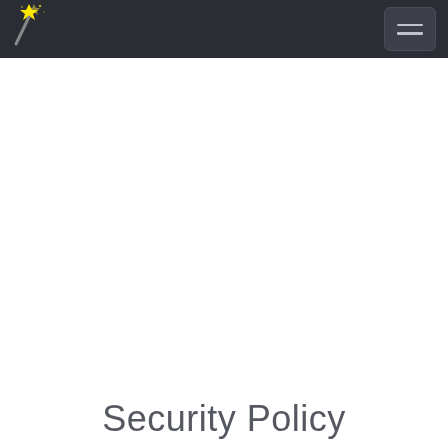Security Policy page header with logo and navigation
Security Policy